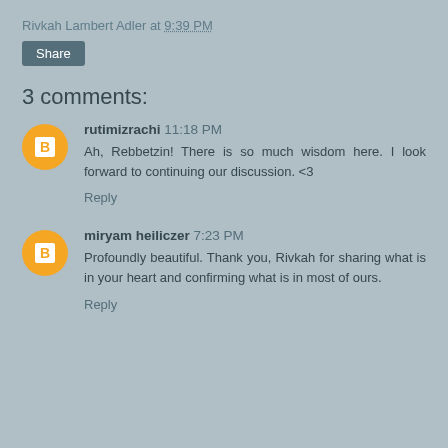Rivkah Lambert Adler at 9:39 PM
Share
3 comments:
rutimizrachi 11:18 PM
Ah, Rebbetzin! There is so much wisdom here. I look forward to continuing our discussion. <3
Reply
miryam heiliczer 7:23 PM
Profoundly beautiful. Thank you, Rivkah for sharing what is in your heart and confirming what is in most of ours.
Reply